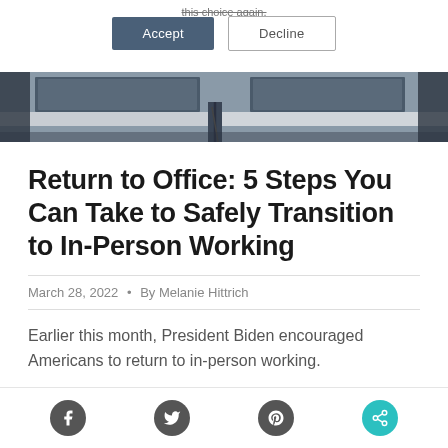this choice again.
Accept  Decline
[Figure (photo): Office desk/workstation photo strip showing desks and chairs in a modern office setting]
Return to Office: 5 Steps You Can Take to Safely Transition to In-Person Working
March 28, 2022 • By Melanie Hittrich
Earlier this month, President Biden encouraged Americans to return to in-person working.
Social icons: Facebook, Twitter, Pinterest, share button